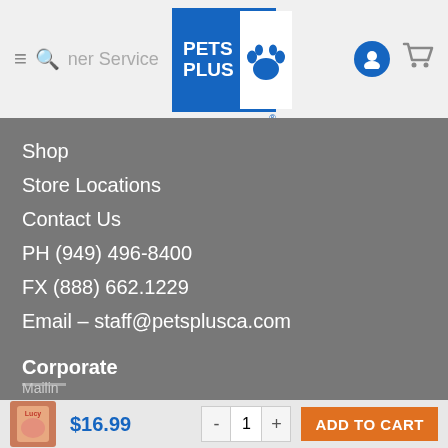[Figure (logo): Pets Plus logo — blue box with white PETS PLUS text and paw print]
Shop
Store Locations
Contact Us
PH (949) 496-8400
FX (888) 662.1229
Email – staff@petsplusca.com
Corporate
Careers
About Us
Mailin
$16.99
ADD TO CART